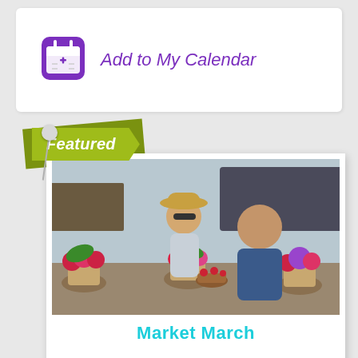[Figure (logo): Purple calendar icon with a plus sign inside, on a purple square background with rounded corners]
Add to My Calendar
Featured
[Figure (photo): Two people at an outdoor flower market. A woman wearing a sun hat and sunglasses and a man in a denim shirt are eating strawberries surrounded by colorful potted flowers.]
Market March